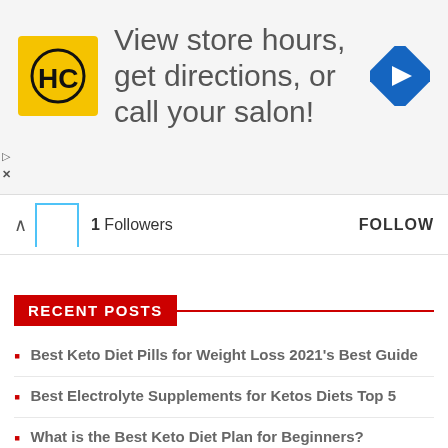[Figure (infographic): Advertisement banner with HC logo (yellow square with black HC text), text 'View store hours, get directions, or call your salon!', and a blue diamond navigation icon on the right.]
1  Followers
FOLLOW
RECENT POSTS
Best Keto Diet Pills for Weight Loss 2021's Best Guide
Best Electrolyte Supplements for Ketos Diets Top 5
What is the Best Keto Diet Plan for Beginners?
Custom Keto Plan
15 best keto diet breakfast ideas to try for quick weight loss